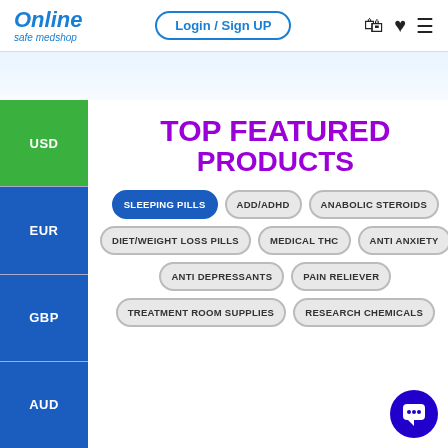Online safe medshop | Login / Sign UP
TOP FEATURED PRODUCTS
SLEEPING PILLS
ADD/ADHD
ANABOLIC STEROIDS
DIET/WEIGHT LOSS PILLS
MEDICAL THC
ANTI ANXIETY
ANTI DEPRESSANTS
PAIN RELIEVER
TREATMENT ROOM SUPPLIES
RESEARCH CHEMICALS